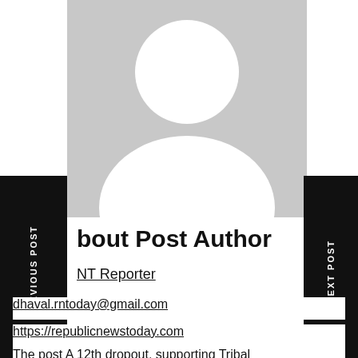[Figure (illustration): Generic user avatar placeholder — gray background with white silhouette of a person (head and shoulders)]
About Post Author
NT Reporter
dhaval.rntoday@gmail.com
https://republicnewstoday.com
The post A 12th dropout, supporting Tribal